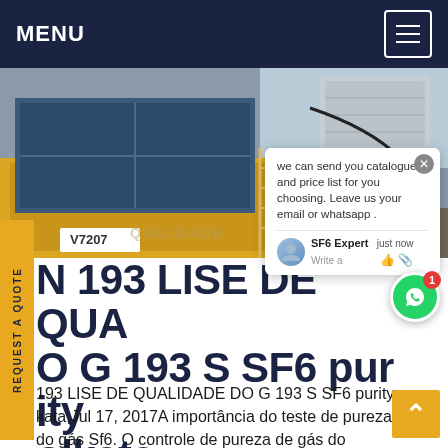MENU
[Figure (photo): Industrial equipment photo showing yellow truck/trailer with blue container, outdoor industrial setting, with 'china' text overlay and air conditioning unit visible]
we can send you catalogue and price list for you choosing. Leave us your email or whatsapp .
N 193 LISE DE QUALIDADE DO G 193 S SF6 purity olkata
193 LISE DE QUALIDADE DO G 193 S SF6 purity kata,Jul 17, 2017A importância do teste de pureza do gás Sf6. O controle de pureza de gás do equipamento elétrico SF6 em operação é muito importante. O nível de pureza do gás no